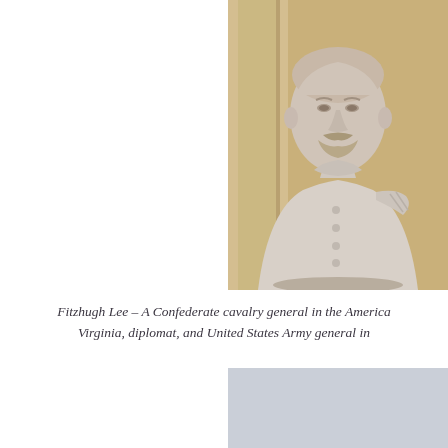[Figure (photo): A marble or stone bust sculpture of Fitzhugh Lee in military uniform, mounted on a pedestal, photographed against a warm beige/gold wall with architectural column detail visible.]
Fitzhugh Lee – A Confederate cavalry general in the American Civil War, Governor of Virginia, diplomat, and United States Army general in
[Figure (photo): Partially visible image, appears to be a light gray/blue-gray colored photograph or image, cropped at the page boundary.]